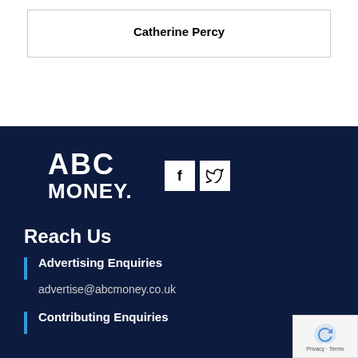Catherine Percy
[Figure (logo): ABC Money logo in white text on dark navy background, with Facebook and Twitter social icons in white squares]
Reach Us
Advertising Enquiries
advertise@abcmoney.co.uk
Contributing Enquiries